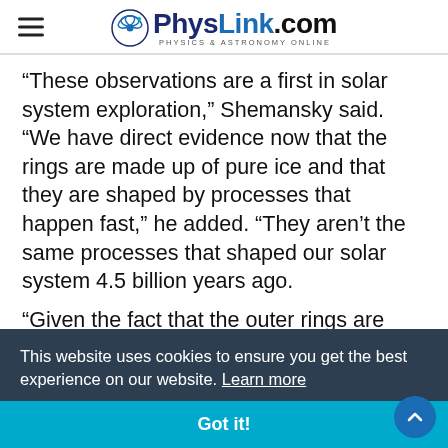PhysLink.com - Physics & Astronomy Online
“These observations are a first in solar system exploration,” Shemansky said. “We have direct evidence now that the rings are made up of pure ice and that they are shaped by processes that happen fast,” he added. “They aren’t the same processes that shaped our solar system 4.5 billion years ago.
“Given the fact that the outer rings are present at this time, the material must be replenished by ionospheric plasma processes,” Shemansky continued. “Clearly, the fact that something is eating up micron-sized grains in the outer ring zones at a high rate tells us that some sort of recycling process must be going to rebuild them.”